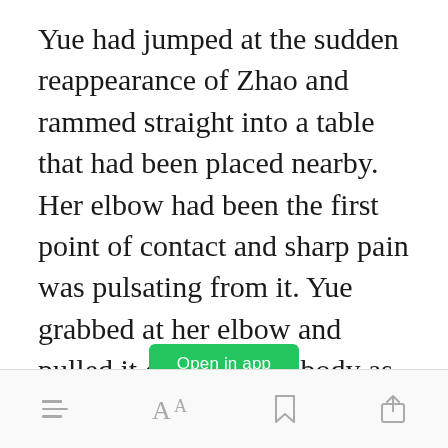Yue had jumped at the sudden reappearance of Zhao and rammed straight into a table that had been placed nearby. Her elbow had been the first point of contact and sharp pain was pulsating from it. Yue grabbed at her elbow and pulled it closer to her body as though the closer it is, the less pain it would emit.
[Figure (other): Green 'Open in app' button]
Bottom navigation bar with hamburger menu, font size, bookmark, and share icons